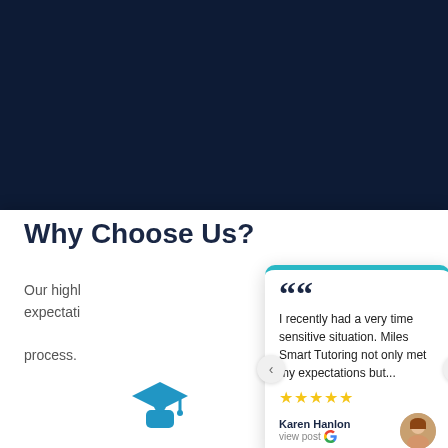[Figure (photo): Dark navy blue background photo of academic/graduation materials]
Why Choose Us?
Our highl... expectati... process.
[Figure (illustration): Graduation cap and figure icon in blue]
[Figure (other): Testimonial card with quote from Karen Hanlon: I recently had a very time sensitive situation. Miles Smart Tutoring not only met my expectations but... 5 stars, view post on Google]
Karen Hanlon
view post